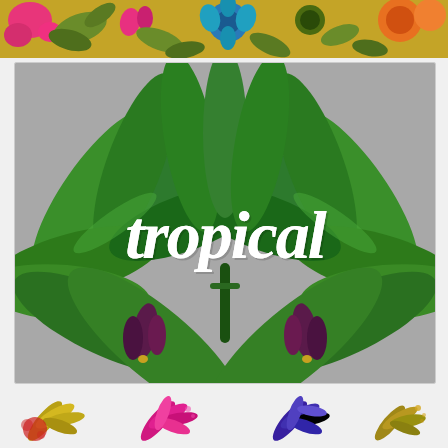[Figure (illustration): Top horizontal strip showing colorful tropical flowers including pink, magenta, blue, and orange blooms with green foliage on a warm background]
[Figure (illustration): Large rectangular illustration on gray background featuring lush green tropical banana leaves arranged symmetrically with purple/maroon banana blossoms, and white cursive script text reading 'tropical' overlaid in the center]
[Figure (illustration): Bottom strip showing four small tropical plant/flower illustrations in different color schemes: golden-yellow, hot pink, purple-blue, and mustard-yellow, each with paint splash effects]